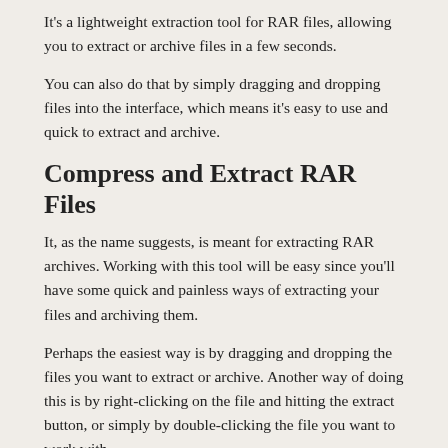It's a lightweight extraction tool for RAR files, allowing you to extract or archive files in a few seconds.
You can also do that by simply dragging and dropping files into the interface, which means it's easy to use and quick to extract and archive.
Compress and Extract RAR Files
It, as the name suggests, is meant for extracting RAR archives. Working with this tool will be easy since you'll have some quick and painless ways of extracting your files and archiving them.
Perhaps the easiest way is by dragging and dropping the files you want to extract or archive. Another way of doing this is by right-clicking on the file and hitting the extract button, or simply by double-clicking the file you want to work with.
The process should be quick and quite easy, even if you're not experienced.